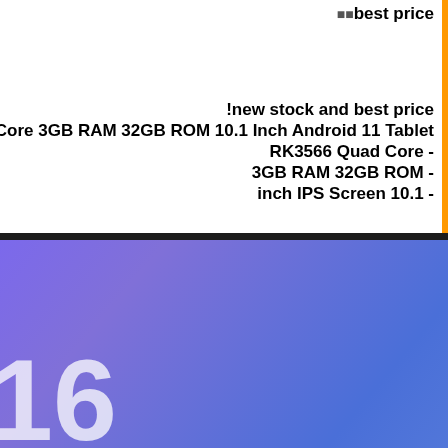🔲🔲best price
!new stock and best price
Core 3GB RAM 32GB ROM 10.1 Inch Android 11 Tablet
RK3566 Quad Core -
3GB RAM 32GB ROM -
inch IPS Screen 10.1 -
ad-Core-3GB-RAM-32GB-ROM-10_1-Inch-Android-11-Tablet-p-
956520.html?cur_warehouse=HK&p=G9040410501758201705
[Figure (photo): Partial view of a tablet device showing the screen with a purple/blue gradient wallpaper, status bar icons (Bluetooth, minus, WiFi, battery, signal, charging), and a large number '16' visible in the lower left corner of the screen.]